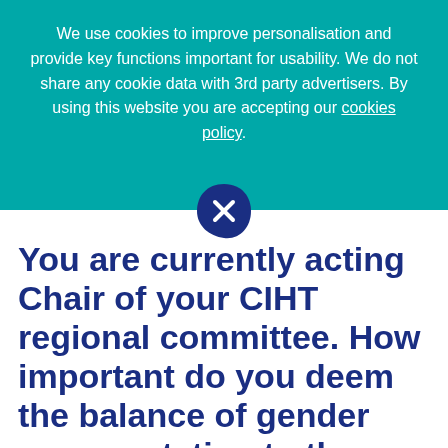We use cookies to improve personalisation and provide key functions important for usability. We do not share any cookie data with 3rd party advertisers. By using this website you are accepting our cookies policy.
[Figure (illustration): Dark navy blue leaf/teardrop shape with a white X close button icon in the center]
You are currently acting Chair of your CIHT regional committee. How important do you deem the balance of gender representation to the success of the committee and its region?
The committee members are all volunteers and are acting